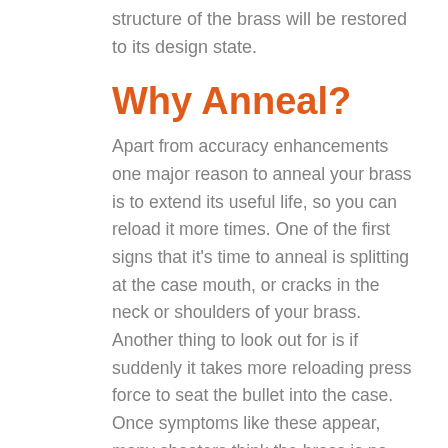structure of the brass will be restored to its design state.
Why Anneal?
Apart from accuracy enhancements one major reason to anneal your brass is to extend its useful life, so you can reload it more times. One of the first signs that it's time to anneal is splitting at the case mouth, or cracks in the neck or shoulders of your brass. Another thing to look out for is if suddenly it takes more reloading press force to seat the bullet into the case.  Once symptoms like these appear, many shooters think the brass is no longer usable and discard them.  Annealing of case brass will extend the useful life of